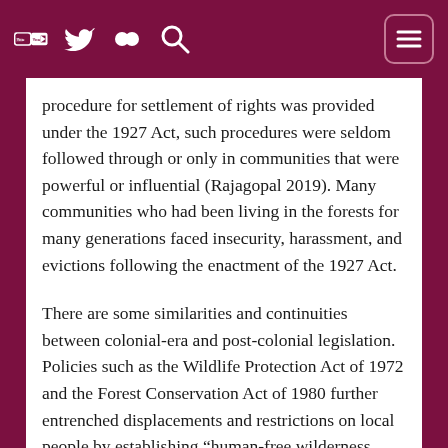[Navigation bar with YouTube, Twitter, Flickr, Search icons and menu button]
procedure for settlement of rights was provided under the 1927 Act, such procedures were seldom followed through or only in communities that were powerful or influential (Rajagopal 2019). Many communities who had been living in the forests for many generations faced insecurity, harassment, and evictions following the enactment of the 1927 Act.
There are some similarities and continuities between colonial-era and post-colonial legislation. Policies such as the Wildlife Protection Act of 1972 and the Forest Conservation Act of 1980 further entrenched displacements and restrictions on local people by establishing “human-free wilderness zones” owned and managed by Forest Departments (Lee and Wolf 2018). The National Forest Policy of 1988 indicated a shift in the Indian government’s forest management practices,